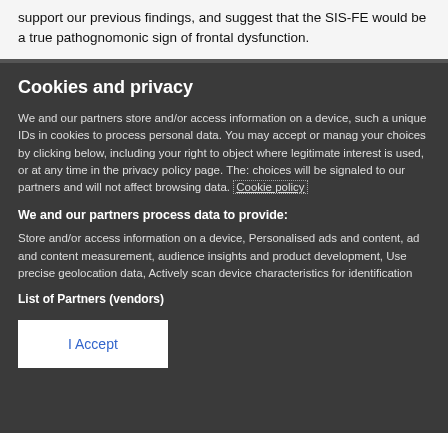support our previous findings, and suggest that the SIS-FE would be a true pathognomonic sign of frontal dysfunction.
Cookies and privacy
We and our partners store and/or access information on a device, such a unique IDs in cookies to process personal data. You may accept or manage your choices by clicking below, including your right to object where legitimate interest is used, or at any time in the privacy policy page. These choices will be signaled to our partners and will not affect browsing data. Cookie policy
We and our partners process data to provide:
Store and/or access information on a device, Personalised ads and content, ad and content measurement, audience insights and product development, Use precise geolocation data, Actively scan device characteristics for identification
List of Partners (vendors)
I Accept